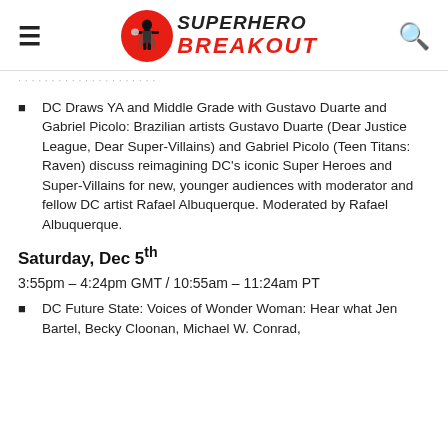Superhero Breakout [logo with hamburger menu and search icon]
…
DC Draws YA and Middle Grade with Gustavo Duarte and Gabriel Picolo: Brazilian artists Gustavo Duarte (Dear Justice League, Dear Super-Villains) and Gabriel Picolo (Teen Titans: Raven) discuss reimagining DC's iconic Super Heroes and Super-Villains for new, younger audiences with moderator and fellow DC artist Rafael Albuquerque. Moderated by Rafael Albuquerque.
Saturday, Dec 5th
3:55pm – 4:24pm GMT / 10:55am – 11:24am PT
DC Future State: Voices of Wonder Woman: Hear what Jen Bartel, Becky Cloonan, Michael W. Conrad,